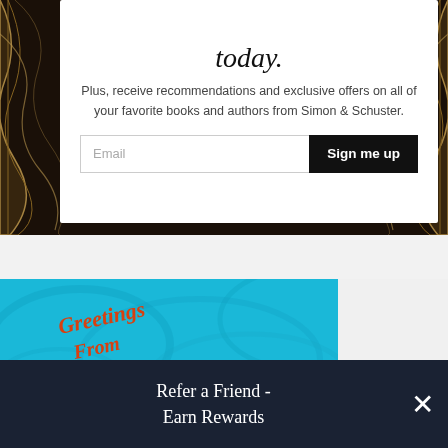today.
Plus, receive recommendations and exclusive offers on all of your favorite books and authors from Simon & Schuster.
[Figure (screenshot): Email input field with placeholder text 'Email' and a black 'Sign me up' button]
[Figure (illustration): Greetings from Bookcation banner with teal water background and retro-style text saying 'Greetings From BOOKCATION']
Refer a Friend - Earn Rewards